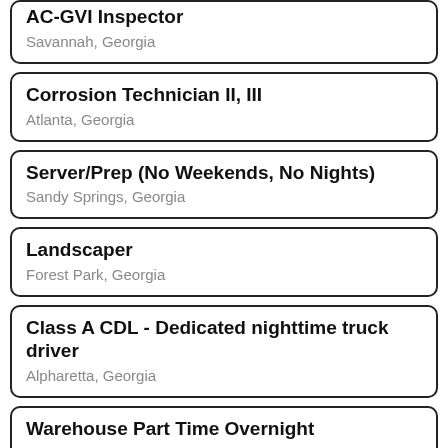AC-GVI Inspector
Savannah, Georgia
Corrosion Technician II, III
Atlanta, Georgia
Server/Prep (No Weekends, No Nights)
Sandy Springs, Georgia
Landscaper
Forest Park, Georgia
Class A CDL - Dedicated nighttime truck driver
Alpharetta, Georgia
Warehouse Part Time Overnight
Sandy Springs, Georgia